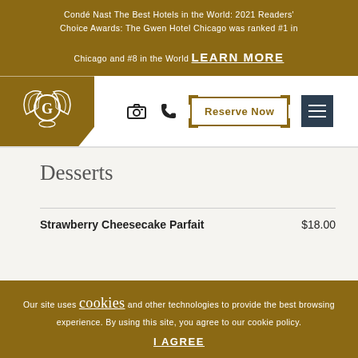Condé Nast The Best Hotels in the World: 2021 Readers' Choice Awards: The Gwen Hotel Chicago was ranked #1 in Chicago and #8 in the World LEARN MORE
[Figure (logo): The Gwen Hotel logo — stylized G with wing motifs in white on gold background]
[Figure (infographic): Navigation bar with camera icon, phone icon, Reserve Now button (gold border), and hamburger menu icon (dark background)]
Desserts
| Item | Price |
| --- | --- |
| Strawberry Cheesecake Parfait | $18.00 |
Our site uses cookies and other technologies to provide the best browsing experience. By using this site, you agree to our cookie policy.
I AGREE